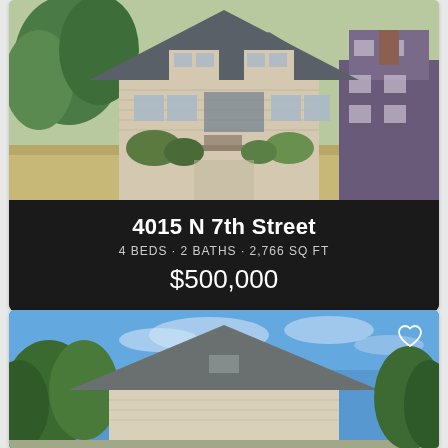[Figure (photo): Aerial/front view of a two-story gambrel-roof house with beige siding, dormer windows, surrounded by dry grass and bushes, with a neighboring purple house visible to the right.]
4015 N 7th Street
4 BEDS · 2 BATHS · 2,766 SQ FT
$500,000
[Figure (photo): Partial view of a single-story house with a peaked gable roof and beige siding, photographed against a blue sky with trees visible on the left side. A heart/favorite icon is visible in the top right corner.]